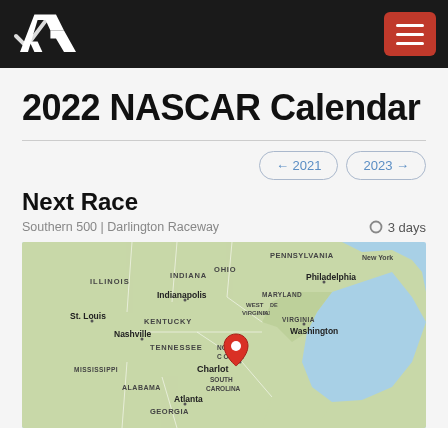NASCAR Calendar – site header with logo and hamburger menu
2022 NASCAR Calendar
← 2021    2023 →
Next Race
Southern 500 | Darlington Raceway     ○ 3 days
[Figure (map): Google Maps view of the eastern United States showing states including Illinois, Indiana, Ohio, Pennsylvania, New York, Maryland, West Virginia, Virginia, Kentucky, Tennessee, North Carolina, South Carolina, Georgia, Alabama, Mississippi, with cities labeled: Indianapolis, St. Louis, Nashville, Atlanta, Philadelphia, Washington, Charlotte. A red location pin is placed near Darlington/Charlotte area in South Carolina/North Carolina.]